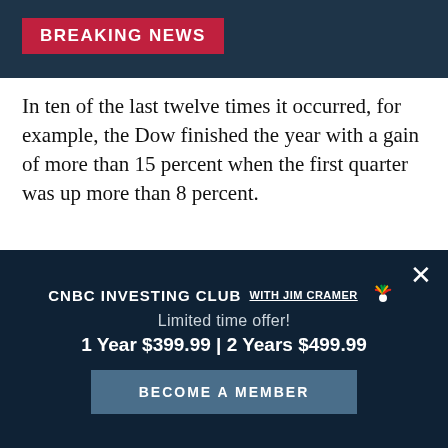BREAKING NEWS
In ten of the last twelve times it occurred, for example, the Dow finished the year with a gain of more than 15 percent when the first quarter was up more than 8 percent.
DJIA Returns When Q1 > 8%
|  | Q1 | Q2 | Q3 | Q4 | Y |
| --- | --- | --- | --- | --- | --- |
CNBC INVESTING CLUB WITH JIM CRAMER
Limited time offer!
1 Year $399.99 | 2 Years $499.99
BECOME A MEMBER